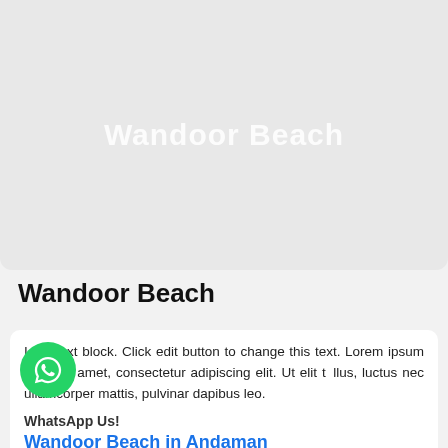[Figure (photo): Light gray placeholder image area with 'Wandoor Beach' watermark text in white]
Wandoor Beach
I am text block. Click edit button to change this text. Lorem ipsum dolor sit amet, consectetur adipiscing elit. Ut elit tellus, luctus nec ullamcorper mattis, pulvinar dapibus leo.
WhatsApp Us!
Wandoor Beach in Andaman